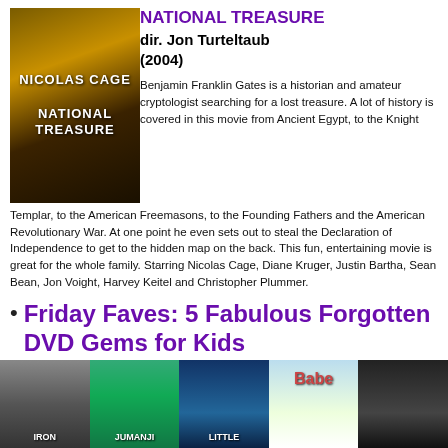[Figure (photo): Movie poster for National Treasure featuring Nicolas Cage]
NATIONAL TREASURE
dir. Jon Turteltaub
(2004)
Benjamin Franklin Gates is a historian and amateur cryptologist searching for a lost treasure. A lot of history is covered in this movie from Ancient Egypt, to the Knight Templar, to the American Freemasons, to the Founding Fathers and the American Revolutionary War. At one point he even sets out to steal the Declaration of Independence to get to the hidden map on the back. This fun, entertaining movie is great for the whole family. Starring Nicolas Cage, Diane Kruger, Justin Bartha, Sean Bean, Jon Voight, Harvey Keitel and Christopher Plummer.
Friday Faves: 5 Fabulous Forgotten DVD Gems for Kids
[Figure (photo): Row of five DVD covers: The Iron Giant, Jumanji, Little children's film, Babe, and another film]